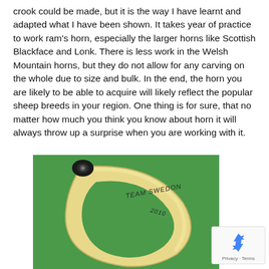crook could be made, but it is the way I have learnt and adapted what I have been shown. It takes year of practice to work ram's horn, especially the larger horns like Scottish Blackface and Lonk. There is less work in the Welsh Mountain horns, but they do not allow for any carving on the whole due to size and bulk. In the end, the horn you are likely to be able to acquire will likely reflect the popular sheep breeds in your region. One thing is for sure, that no matter how much you think you know about horn it will always throw up a surprise when you are working with it.
[Figure (photo): A curved ram's horn crook/walking stick handle photographed against a green background. The horn is pale cream/yellow colored and curved in a loop shape. Engraved text on the horn reads 'TEAM SWEDON 2010'. The tip of the horn has a dark metal/black cap fitting.]